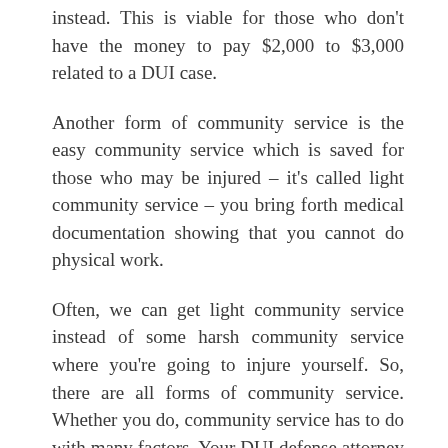instead. This is viable for those who don't have the money to pay $2,000 to $3,000 related to a DUI case.
Another form of community service is the easy community service which is saved for those who may be injured – it's called light community service – you bring forth medical documentation showing that you cannot do physical work.
Often, we can get light community service instead of some harsh community service where you're going to injure yourself. So, there are all forms of community service. Whether you do, community service has to do with many factors. Your DUI defense attorney will be your best source in figuring out what type of community service you might end up with related to your DUI.
FAILURE TO COMPLETE COMMUNITY SERVICE